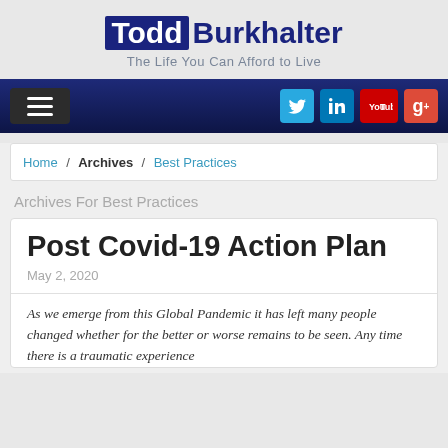Todd Burkhalter — The Life You Can Afford to Live
Home / Archives / Best Practices
Archives For Best Practices
Post Covid-19 Action Plan
May 2, 2020
As we emerge from this Global Pandemic it has left many people changed whether for the better or worse remains to be seen. Any time there is a traumatic experience